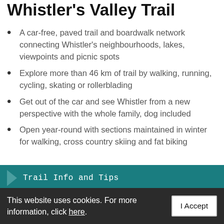Whistler's Valley Trail
A car-free, paved trail and boardwalk network connecting Whistler's neighbourhoods, lakes, viewpoints and picnic spots
Explore more than 46 km of trail by walking, running, cycling, skating or rollerblading
Get out of the car and see Whistler from a new perspective with the whole family, dog included
Open year-round with sections maintained in winter for walking, cross country skiing and fat biking
Trail Info and Tips
This website uses cookies. For more information, click here.